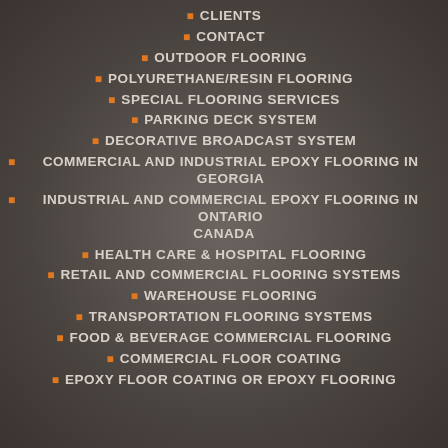CLIENTS
CONTACT
OUTDOOR FLOORING
POLYURETHANE/RESIN FLOORING
SPECIAL FLOORING SERVICES
PARKING DECK SYSTEM
DECORATIVE BROADCAST SYSTEM
COMMERCIAL AND INDUSTRIAL EPOXY FLOORING IN GEORGIA
INDUSTRIAL AND COMMERCIAL EPOXY FLOORING IN ONTARIO CANADA
HEALTH CARE & HOSPITAL FLOORING
RETAIL AND COMMERCIAL FLOORING SYSTEMS
WAREHOUSE FLOORING
TRANSPORTATION FLOORING SYSTEMS
FOOD & BEVERAGE COMMERCIAL FLOORING
COMMERCIAL FLOOR COATING
EPOXY FLOOR COATING OR EPOXY FLOORING